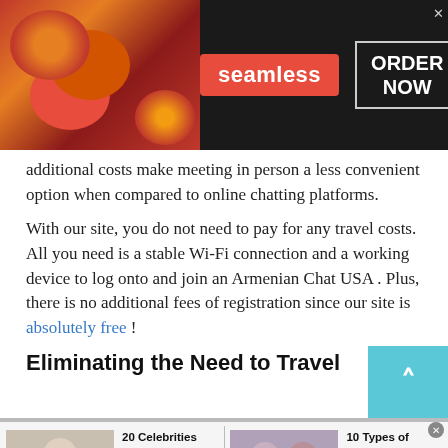[Figure (other): Seamless food delivery advertisement banner with pizza image on left, red 'seamless' logo in center, and 'ORDER NOW' button on right with dark background]
additional costs make meeting in person a less convenient option when compared to online chatting platforms.
With our site, you do not need to pay for any travel costs. All you need is a stable Wi-Fi connection and a working device to log onto and join an Armenian Chat USA . Plus, there is no additional fees of registration since our site is absolutely free !
Eliminating the Need to Travel
[Figure (other): Bottom advertisement bar with two sponsored content items: '20 Celebrities and Their Real Names You Probably Don't Know!' by FrilyNews, and '10 Types of Women You Should Never Marry' by Adby Nazey]